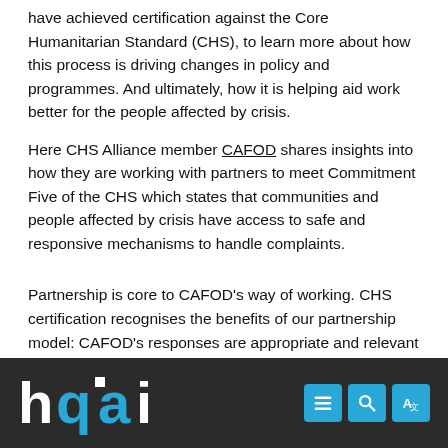have achieved certification against the Core Humanitarian Standard (CHS), to learn more about how this process is driving changes in policy and programmes. And ultimately, how it is helping aid work better for the people affected by crisis.
Here CHS Alliance member CAFOD shares insights into how they are working with partners to meet Commitment Five of the CHS which states that communities and people affected by crisis have access to safe and responsive mechanisms to handle complaints.
Partnership is core to CAFOD's way of working. CHS certification recognises the benefits of our partnership model: CAFOD's responses are appropriate and relevant because our partners are best placed to hear what communities' needs are (Commitment 1). Humanitarian response is coordinated and complimentary because CAFOD has strong relationships and coordinates well with our partners (Commitment 6).
[Figure (logo): HQAI logo in white and cyan on dark background, with navigation icons (menu, search, translate) in cyan buttons on the right]